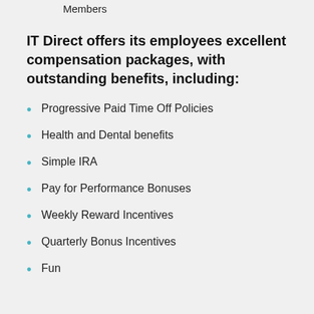Provide guidance and coaching to other Team Members
IT Direct offers its employees excellent compensation packages, with outstanding benefits, including:
Progressive Paid Time Off Policies
Health and Dental benefits
Simple IRA
Pay for Performance Bonuses
Weekly Reward Incentives
Quarterly Bonus Incentives
Fun